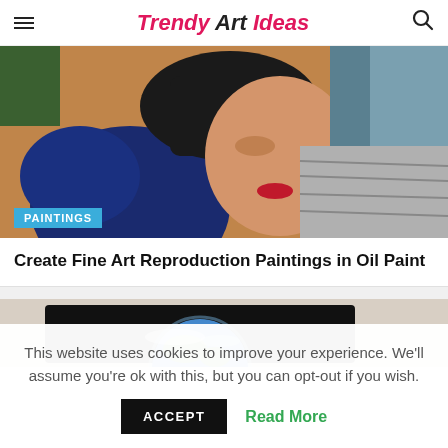Trendy Art Ideas
[Figure (photo): Close-up oil painting of a woman with dark hair, red lips, reclining with arm raised, wearing blue and grey draped clothing. A 'PAINTINGS' tag overlay is shown at the bottom left.]
Create Fine Art Reproduction Paintings in Oil Paint
[Figure (photo): Partial view of a painting or photograph showing Earth from space against a dark background, cropped at the bottom of the visible area.]
This website uses cookies to improve your experience. We'll assume you're ok with this, but you can opt-out if you wish.